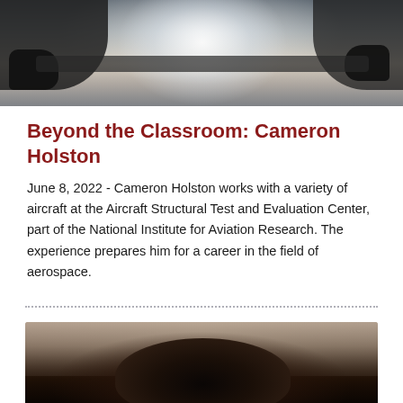[Figure (photo): Person wearing dark gloves working with aircraft equipment, view from above/side showing arms and hands gripping a horizontal bar or aircraft component, bright light in background center]
Beyond the Classroom: Cameron Holston
June 8, 2022 - Cameron Holston works with a variety of aircraft at the Aircraft Structural Test and Evaluation Center, part of the National Institute for Aviation Research. The experience prepares him for a career in the field of aerospace.
[Figure (photo): Portrait photo of a young man with dark hair, photographed outdoors with blurred building background in warm/neutral tones]